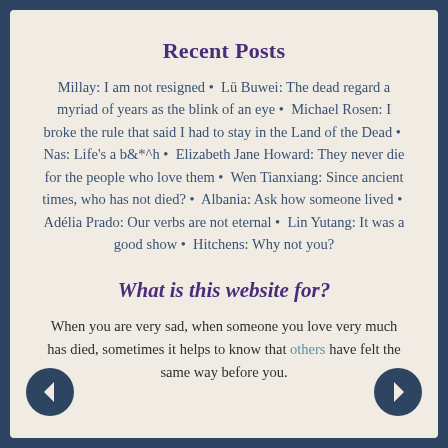Recent Posts
Millay: I am not resigned •  Lü Buwei: The dead regard a myriad of years as the blink of an eye •  Michael Rosen: I broke the rule that said I had to stay in the Land of the Dead •  Nas: Life's a b&*^h •  Elizabeth Jane Howard: They never die for the people who love them •  Wen Tianxiang: Since ancient times, who has not died? •  Albania: Ask how someone lived •  Adélia Prado: Our verbs are not eternal •  Lin Yutang: It was a good show •  Hitchens: Why not you?
What is this website for?
When you are very sad, when someone you love very much has died, sometimes it helps to know that others have felt the same way before you.